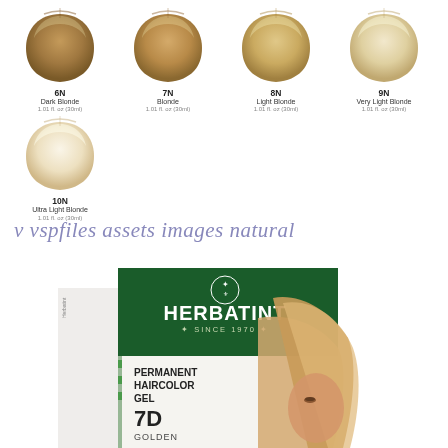[Figure (illustration): Five hair color swatches for Herbatint natural blonde shades: 6N Dark Blonde, 7N Blonde, 8N Light Blonde, 9N Very Light Blonde, 10N Ultra Light Blonde]
v vspfiles assets images natural
[Figure (photo): Herbatint Permanent Haircolor Gel product box, shade 7D Golden, featuring a woman with golden blonde hair, dark green top panel with logo and SINCE 1970 text, white lower panel with product details]